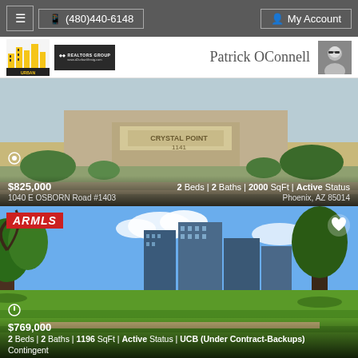≡  (480)440-6148  My Account
Patrick OConnell
[Figure (photo): Exterior photo of Crystal Point building entrance with sign reading CRYSTAL POINT 1141]
$825,000
2 Beds | 2 Baths | 2000 SqFt | Active Status
1040 E OSBORN Road #1403
Phoenix, AZ 85014
[Figure (photo): Exterior photo of high-rise condo buildings viewed from park with trees in foreground]
$769,000
2 Beds | 2 Baths | 1196 SqFt | Active Status | UCB (Under Contract-Backups) Contingent